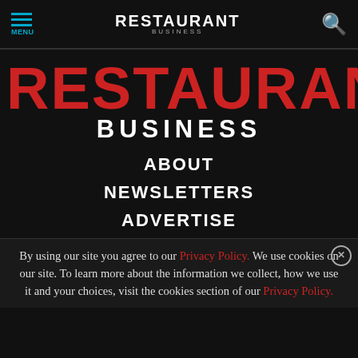MENU | RESTAURANT BUSINESS | Search
RESTAURANT BUSINESS
ABOUT
NEWSLETTERS
ADVERTISE
By using our site you agree to our Privacy Policy. We use cookies on our site. To learn more about the information we collect, how we use it and your choices, visit the cookies section of our Privacy Policy.